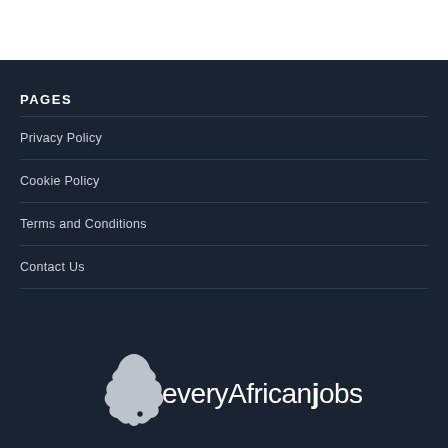PAGES
Privacy Policy
Cookie Policy
Terms and Conditions
Contact Us
[Figure (logo): everyAfricanjobs logo with Africa continent silhouette in white on dark background]